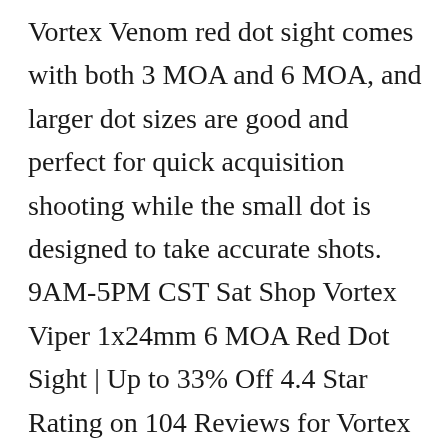Vortex Venom red dot sight comes with both 3 MOA and 6 MOA, and larger dot sizes are good and perfect for quick acquisition shooting while the small dot is designed to take accurate shots. 9AM-5PM CST Sat Shop Vortex Viper 1x24mm 6 MOA Red Dot Sight | Up to 33% Off 4.4 Star Rating on 104 Reviews for Vortex Viper 1x24mm 6 MOA Red Dot Sight Free 2 Day Shipping + Free Shipping over $49. Venom Red Dot with a medium attack, an ideal solution combined with the use of guns. With our Hassle-Free Extended At max brightness the dot is about the 6 MOA size. Had it for 2 years with the same battery, just about to switch it out. Thanks for subscribing to our